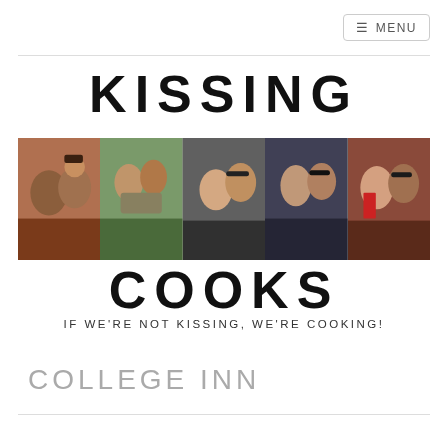≡ MENU
KISSING COOKS
[Figure (photo): A horizontal photo strip made of 5 couple photos showing a man and woman kissing or posing together in various settings and outfits]
IF WE'RE NOT KISSING, WE'RE COOKING!
COLLEGE INN